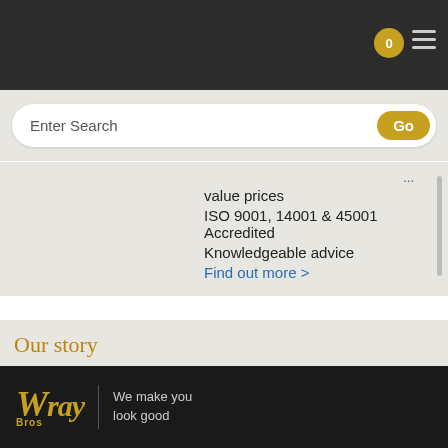Navigation bar with cart (0) and hamburger menu
Enter Search
value prices
ISO 9001, 14001 & 45001 Accredited
Knowledgeable advice
Find out more >
Our story
Over the years we've developed our staying power by looking after our loyal customers and because of this, we continue to grow. Yet we have never forgotten the help we received when we were starting up. Find out more >
Wray Bros — We make you look good